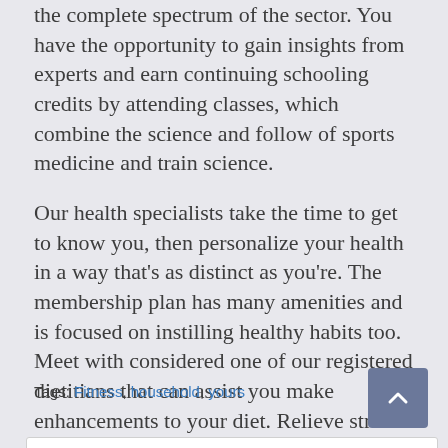the complete spectrum of the sector. You have the opportunity to gain insights from experts and earn continuing schooling credits by attending classes, which combine the science and follow of sports medicine and train science.
Our health specialists take the time to get to know you, then personalize your health in a way that's as distinct as you're. The membership plan has many amenities and is focused on instilling healthy habits too. Meet with considered one of our registered dietitians that can assist you make enhancements to your diet. Relieve stress and rejuvenate, with massages tailor-made to your health way of life.
Tags: Fitness, household, yours
< Health And Health